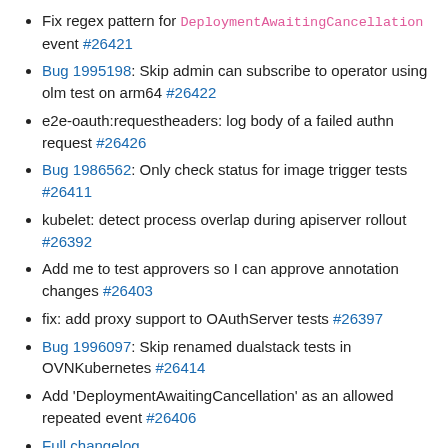Fix regex pattern for DeploymentAwaitingCancellation event #26421
Bug 1995198: Skip admin can subscribe to operator using olm test on arm64 #26422
e2e-oauth:requestheaders: log body of a failed authn request #26426
Bug 1986562: Only check status for image trigger tests #26411
kubelet: detect process overlap during apiserver rollout #26392
Add me to test approvers so I can approve annotation changes #26403
fix: add proxy support to OAuthServer tests #26397
Bug 1996097: Skip renamed dualstack tests in OVNKubernetes #26414
Add 'DeploymentAwaitingCancellation' as an allowed repeated event #26406
Full changelog